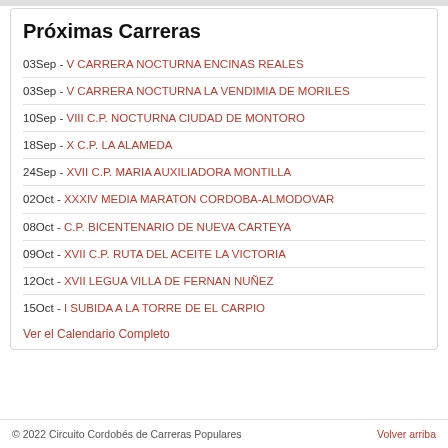Próximas Carreras
03Sep - V CARRERA NOCTURNA ENCINAS REALES
03Sep - V CARRERA NOCTURNA LA VENDIMIA DE MORILES
10Sep - VIII C.P. NOCTURNA CIUDAD DE MONTORO
18Sep - X C.P. LA ALAMEDA
24Sep - XVII C.P. MARIA AUXILIADORA MONTILLA
02Oct - XXXIV MEDIA MARATON CORDOBA-ALMODOVAR
08Oct - C.P. BICENTENARIO DE NUEVA CARTEYA
09Oct - XVII C.P. RUTA DEL ACEITE LA VICTORIA
12Oct - XVII LEGUA VILLA DE FERNAN NUÑEZ
15Oct - I SUBIDA A LA TORRE DE EL CARPIO
Ver el Calendario Completo
© 2022 Circuito Cordobés de Carreras Populares    Volver arriba